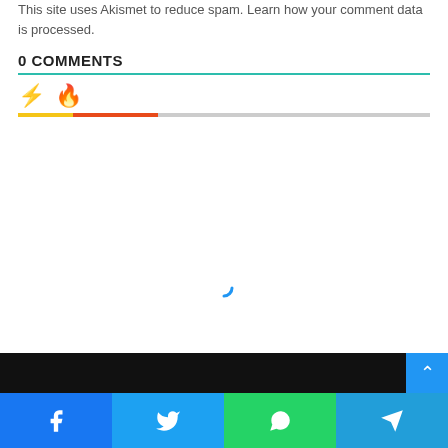This site uses Akismet to reduce spam. Learn how your comment data is processed.
0 COMMENTS
[Figure (infographic): Comment sorting icons: lightning bolt (yellow) and fire (orange-red), with a progress indicator bar — yellow segment, red segment, then gray remainder.]
[Figure (infographic): Loading spinner arc in blue, centered on the page.]
[Figure (infographic): Black footer bar with blue scroll-to-top button showing upward chevron arrow, and a social share bar with Facebook (blue), Twitter (light blue), WhatsApp (green), and Telegram (cyan) buttons with respective icons.]